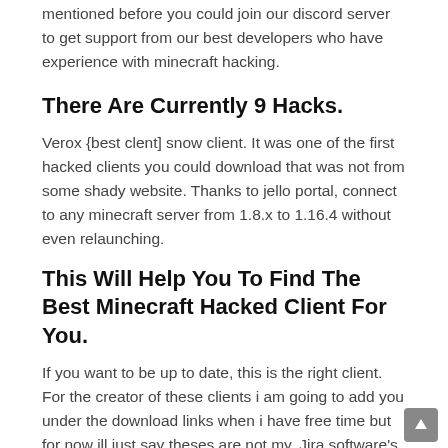mentioned before you could join our discord server to get support from our best developers who have experience with minecraft hacking.
There Are Currently 9 Hacks.
Verox {best clent] snow client. It was one of the first hacked clients you could download that was not from some shady website. Thanks to jello portal, connect to any minecraft server from 1.8.x to 1.16.4 without even relaunching.
This Will Help You To Find The Best Minecraft Hacked Client For You.
If you want to be up to date, this is the right client. For the creator of these clients i am going to add you under the download links when i have free time but for now ill just say theses are not my. Jira software's rich planning features enable your team to flexibly plan in a way that works best for them.